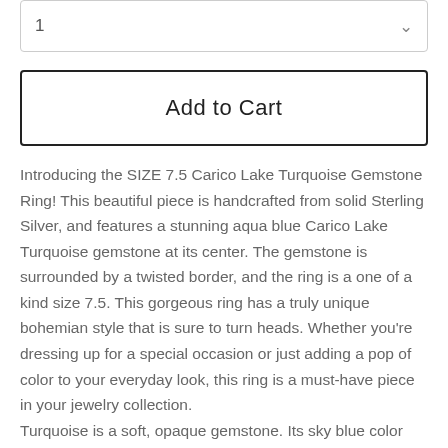1
Add to Cart
Introducing the SIZE 7.5 Carico Lake Turquoise Gemstone Ring! This beautiful piece is handcrafted from solid Sterling Silver, and features a stunning aqua blue Carico Lake Turquoise gemstone at its center. The gemstone is surrounded by a twisted border, and the ring is a one of a kind size 7.5. This gorgeous ring has a truly unique bohemian style that is sure to turn heads. Whether you're dressing up for a special occasion or just adding a pop of color to your everyday look, this ring is a must-have piece in your jewelry collection.
Turquoise is a soft, opaque gemstone. Its sky blue color